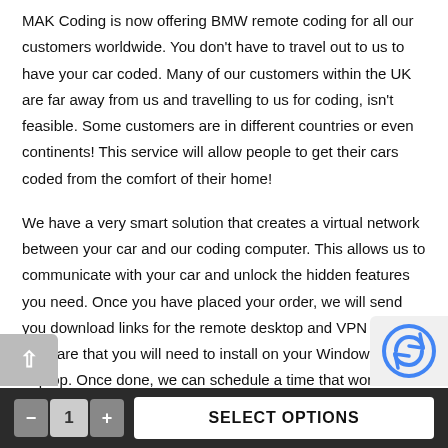MAK Coding is now offering BMW remote coding for all our customers worldwide. You don't have to travel out to us to have your car coded. Many of our customers within the UK are far away from us and travelling to us for coding, isn't feasible. Some customers are in different countries or even continents! This service will allow people to get their cars coded from the comfort of their home!
We have a very smart solution that creates a virtual network between your car and our coding computer. This allows us to communicate with your car and unlock the hidden features you need. Once you have placed your order, we will send you download links for the remote desktop and VPN software that you will need to install on your Windows Laptop. Once done, we can schedule a time that works for both of us and remote
- 1 + SELECT OPTIONS